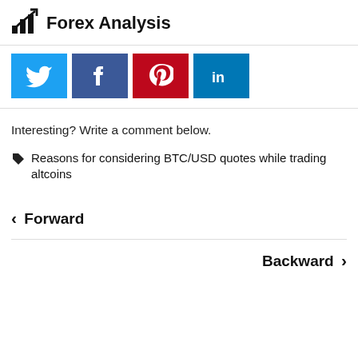Forex Analysis
[Figure (other): Social media share buttons: Twitter (blue), Facebook (dark blue), Pinterest (red), LinkedIn (blue)]
Interesting? Write a comment below.
Reasons for considering BTC/USD quotes while trading altcoins
< Forward
Backward >